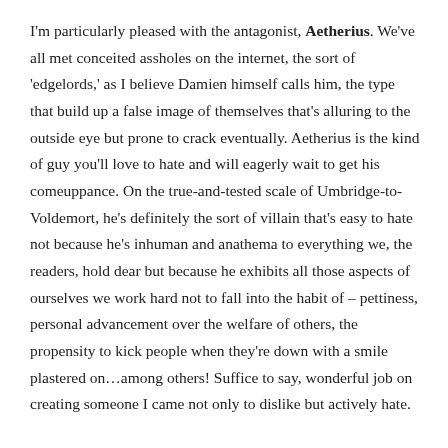I'm particularly pleased with the antagonist, Aetherius. We've all met conceited assholes on the internet, the sort of 'edgelords,' as I believe Damien himself calls him, the type that build up a false image of themselves that's alluring to the outside eye but prone to crack eventually. Aetherius is the kind of guy you'll love to hate and will eagerly wait to get his comeuppance. On the true-and-tested scale of Umbridge-to-Voldemort, he's definitely the sort of villain that's easy to hate not because he's inhuman and anathema to everything we, the readers, hold dear but because he exhibits all those aspects of ourselves we work hard not to fall into the habit of – pettiness, personal advancement over the welfare of others, the propensity to kick people when they're down with a smile plastered on…among others! Suffice to say, wonderful job on creating someone I came not only to dislike but actively hate.

On the topic of worldbuilding: excellent job both within the game and outside. Saga Online seems like a vast game with a lot happening in it but rather than